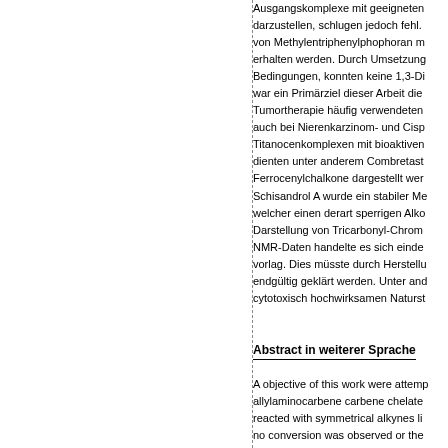Ausgangskomplexe mit geeigneten Liganden darzustellen, schlugen jedoch fehl. von Methylentriphenylphophoran m erhalten werden. Durch Umsetzung Bedingungen, konnten keine 1,3-Di war ein Primärziel dieser Arbeit die Tumortherapie häufig verwendeten auch bei Nierenkarzinom- und Cisp Titanocenkomplexen mit bioaktiven dienten unter anderem Combretast Ferrocenylchalkone dargestellt wer Schisandrol A wurde ein stabiler Me welcher einen derart sperrigen Alko Darstellung von Tricarbonyl-Chrom NMR-Daten handelte es sich einde vorlag. Dies müsste durch Herstellu endgültig geklärt werden. Unter and cytotoxisch hochwirksamen Naturst
Abstract in weiterer Sprache
A objective of this work were attemp allylaminocarbene carbene chelate reacted with symmetrical alkynes li no conversion was observed or the undertaken at a synthesis of the so